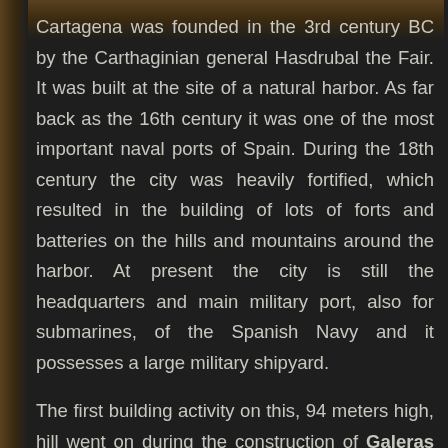Cartagena was founded in the 3rd century BC by the Carthaginian general Hasdrubal the Fair. It was built at the site of a natural harbor. As far back as the 16th century it was one of the most important naval ports of Spain. During the 18th century the city was heavily fortified, which resulted in the building of lots of forts and batteries on the hills and mountains around the harbor. At present the city is still the headquarters and main military port, also for submarines, of the Spanish Navy and it possesses a large military shipyard.
The first building activity on this, 94 meters high, hill went on during the construction of Galeras Fort on a mountain north of it, in the 3rd quarter of the 18th century, when 3 small batteries were built here. When Galeras Fort was finished, they were abandoned.